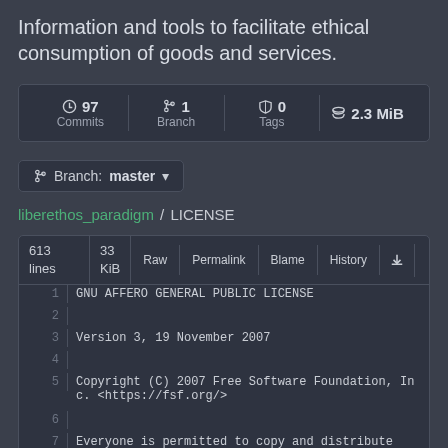Information and tools to facilitate ethical consumption of goods and services.
| Commits | Branch | Tags | Size |
| --- | --- | --- | --- |
| 97 Commits | 1 Branch | 0 Tags | 2.3 MiB |
Branch: master
liberethos_paradigm / LICENSE
| lines | KiB | Raw | Permalink | Blame | History |
| --- | --- | --- | --- | --- | --- |
| 613 lines | 33 KiB | Raw | Permalink | Blame | History |
| 1 |  | GNU AFFERO GENERAL PUBLIC LICENSE |  |  |  |
| 2 |  |  |  |  |  |
| 3 |  | Version 3, 19 November 2007 |  |  |  |
| 4 |  |  |  |  |  |
| 5 |  | Copyright (C) 2007 Free Software Foundation, Inc. <https://fsf.org/> |  |  |  |
| 6 |  |  |  |  |  |
| 7 |  | Everyone is permitted to copy and distribute ver |  |  |  |